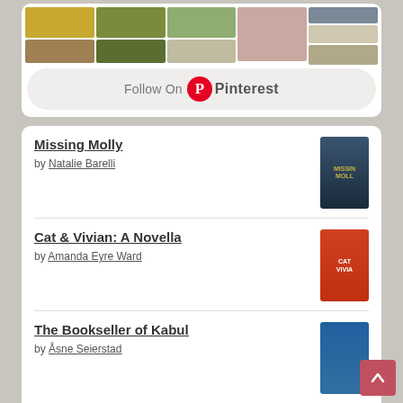[Figure (photo): Pinterest photo grid showing food and lifestyle images in a mosaic layout]
Follow On Pinterest
Missing Molly by Natalie Barelli
Cat & Vivian: A Novella by Amanda Eyre Ward
The Bookseller of Kabul by Åsne Seierstad
The Reading List by Sara Nisha Adams